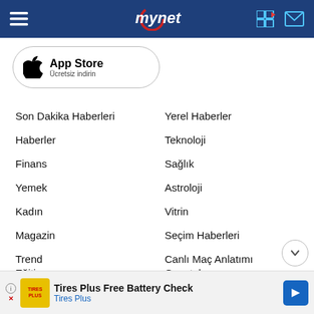mynet
[Figure (logo): App Store download button with Apple logo, text 'App Store' and 'Ücretsiz indirin']
Son Dakika Haberleri
Yerel Haberler
Haberler
Teknoloji
Finans
Sağlık
Yemek
Astroloji
Kadın
Vitrin
Magazin
Seçim Haberleri
Trend
Canlı Maç Anlatımı
Eğitim
Gazeteler
Spor
E-mail
[Figure (infographic): Tires Plus Free Battery Check advertisement banner]